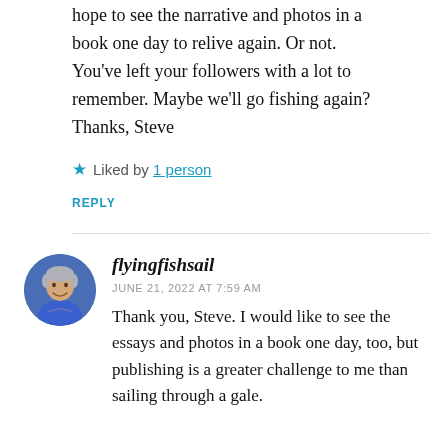hope to see the narrative and photos in a book one day to relive again. Or not. You've left your followers with a lot to remember. Maybe we'll go fishing again? Thanks, Steve
★ Liked by 1 person
REPLY
[Figure (photo): Round avatar photo of a smiling person with grey hair wearing a blue shirt]
flyingfishsail
JUNE 21, 2022 AT 7:59 AM
Thank you, Steve. I would like to see the essays and photos in a book one day, too, but publishing is a greater challenge to me than sailing through a gale.